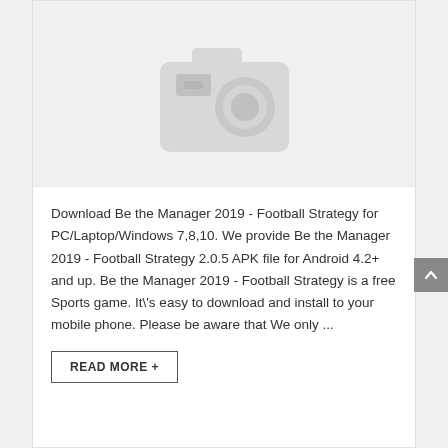[Figure (illustration): Placeholder image with a camera icon on a light gray background]
Download Be the Manager 2019 - Football Strategy for PC/Laptop/Windows 7,8,10. We provide Be the Manager 2019 - Football Strategy 2.0.5 APK file for Android 4.2+ and up. Be the Manager 2019 - Football Strategy is a free Sports game. It\'s easy to download and install to your mobile phone. Please be aware that We only ...
READ MORE +